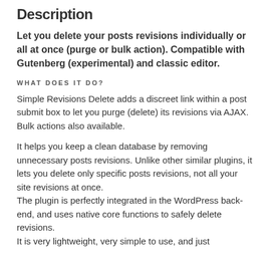Description
Let you delete your posts revisions individually or all at once (purge or bulk action). Compatible with Gutenberg (experimental) and classic editor.
WHAT DOES IT DO?
Simple Revisions Delete adds a discreet link within a post submit box to let you purge (delete) its revisions via AJAX. Bulk actions also available.
It helps you keep a clean database by removing unnecessary posts revisions. Unlike other similar plugins, it lets you delete only specific posts revisions, not all your site revisions at once. The plugin is perfectly integrated in the WordPress back-end, and uses native core functions to safely delete revisions.
It is very lightweight, very simple to use, and just